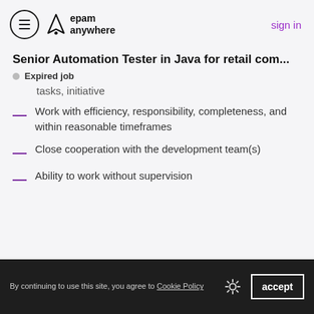epam anywhere — sign in
Senior Automation Tester in Java for retail com...
Expired job
tasks, initiative
Work with efficiency, responsibility, completeness, and within reasonable timeframes
Close cooperation with the development team(s)
Ability to work without supervision
By continuing to use this site, you agree to Cookie Policy — accept